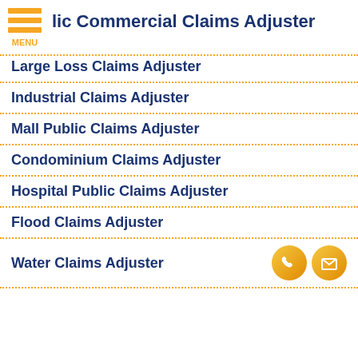lic Commercial Claims Adjuster
Large Loss Claims Adjuster
Industrial Claims Adjuster
Mall Public Claims Adjuster
Condominium Claims Adjuster
Hospital Public Claims Adjuster
Flood Claims Adjuster
Water Claims Adjuster